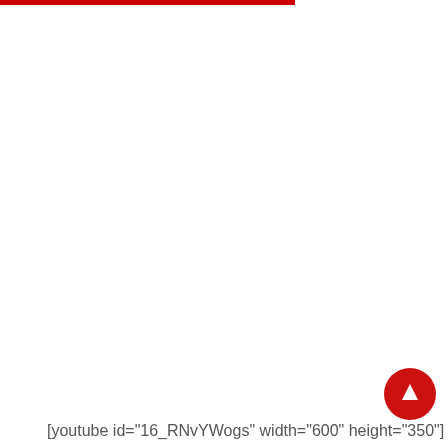[youtube id="16_RNvYWogs" width="600" height="350"]